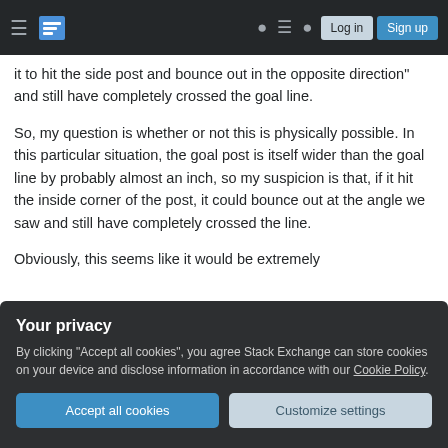Stack Exchange navigation bar with hamburger menu, logo, help, chat, search, Log in, Sign up buttons
it to hit the side post and bounce out in the opposite direction" and still have completely crossed the goal line.

So, my question is whether or not this is physically possible. In this particular situation, the goal post is itself wider than the goal line by probably almost an inch, so my suspicion is that, if it hit the inside corner of the post, it could bounce out at the angle we saw and still have completely crossed the line.

Obviously, this seems like it would be extremely
Your privacy
By clicking "Accept all cookies", you agree Stack Exchange can store cookies on your device and disclose information in accordance with our Cookie Policy.
Accept all cookies
Customize settings